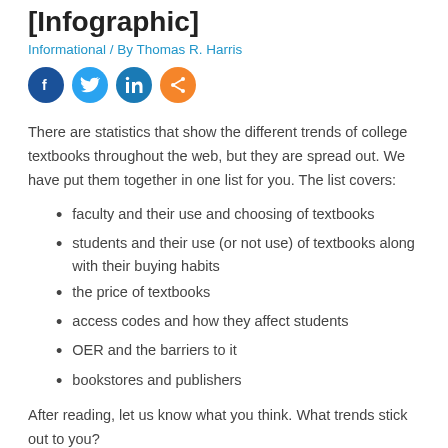[Infographic]
Informational / By Thomas R. Harris
[Figure (infographic): Social media sharing icons: Facebook, Twitter, LinkedIn, and a generic share button]
There are statistics that show the different trends of college textbooks throughout the web, but they are spread out. We have put them together in one list for you. The list covers:
faculty and their use and choosing of textbooks
students and their use (or not use) of textbooks along with their buying habits
the price of textbooks
access codes and how they affect students
OER and the barriers to it
bookstores and publishers
After reading, let us know what you think. What trends stick out to you?